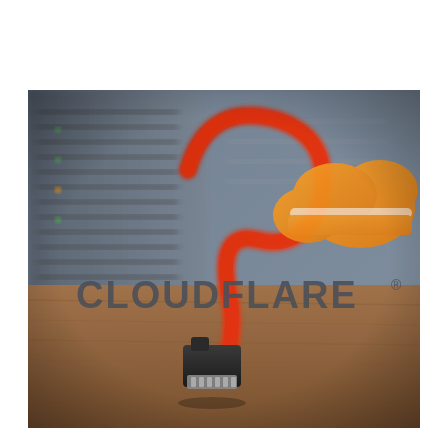[Figure (photo): Photo of a SATA cable connector resting on a wooden surface in the foreground, with blurred server rack hardware in the background. Overlaid on the image is the Cloudflare logo: an orange cloud icon above the word CLOUDFLARE in bold dark gray letters with a registered trademark symbol.]